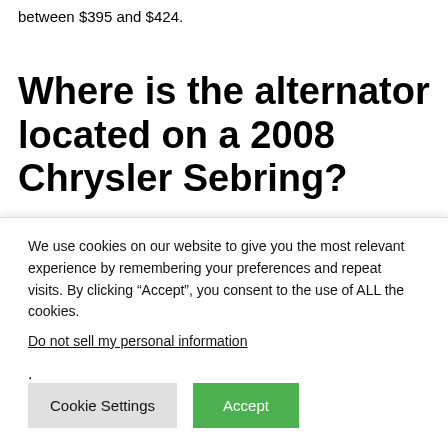between $395 and $424.
Where is the alternator located on a 2008 Chrysler Sebring?
Alternators are located towards the front of your engine and
We use cookies on our website to give you the most relevant experience by remembering your preferences and repeat visits. By clicking “Accept”, you consent to the use of ALL the cookies.
Do not sell my personal information.
Cookie Settings
Accept